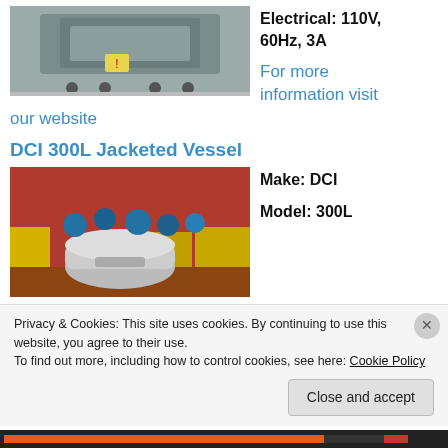[Figure (photo): Industrial equipment photo showing a grey machine on casters against a wall]
Electrical: 110V, 60Hz, 3A
For more information visit our website
DCI 300L Jacketed Vessel
[Figure (photo): Photo of industrial jacketed vessels with blue fittings against a red wall]
Make: DCI
Model: 300L
Privacy & Cookies: This site uses cookies. By continuing to use this website, you agree to their use.
To find out more, including how to control cookies, see here: Cookie Policy